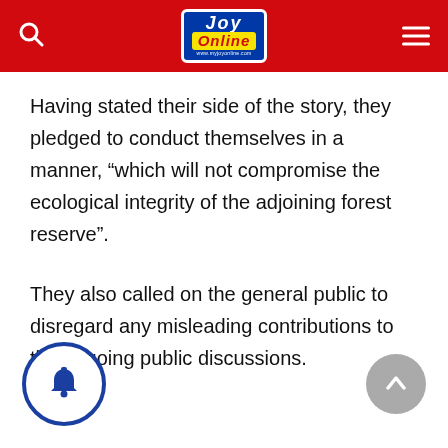Joy Online
Having stated their side of the story, they pledged to conduct themselves in a manner, “which will not compromise the ecological integrity of the adjoining forest reserve”.
They also called on the general public to disregard any misleading contributions to the ongoing public discussions.
[Figure (other): Blue circular notification bell button and grey scroll-to-top arrow button]